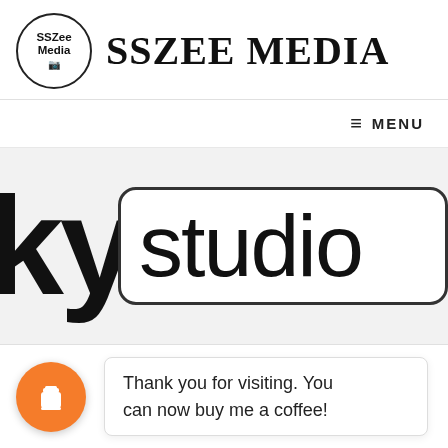[Figure (logo): SSZee Media circular logo with camera icon]
SSZEE MEDIA
≡ MENU
[Figure (logo): Sky studio logo — 'ky' in large bold text and 'studio' inside a rounded rectangle]
[Figure (illustration): Orange circle coffee cup icon (Buy Me a Coffee widget)]
Thank you for visiting. You can now buy me a coffee!